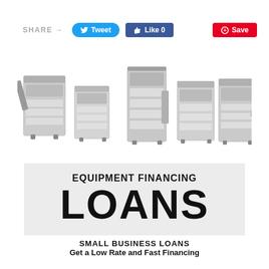SHARE → Tweet  Like 0  Save
[Figure (photo): Row of five office multifunction printers/copiers in various sizes and styles, shown in grayscale/silver tones against a white background.]
[Figure (infographic): Light gray banner reading 'EQUIPMENT FINANCING' in bold uppercase and 'LOANS' in very large black bold font.]
SMALL BUSINESS LOANS
Get a Low Rate and Fast Financing